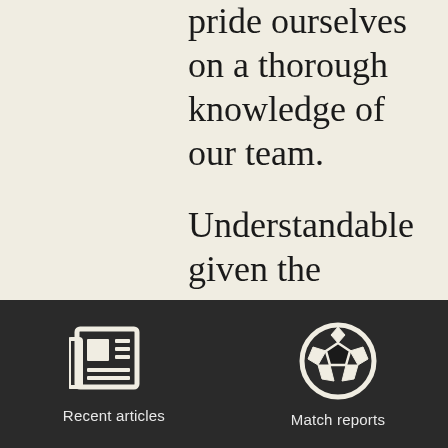pride ourselves on a thorough knowledge of our team.
Understandable given the opposition's level of ability and need to take the most from an afternoon playing on a bumpy pitch inside a
[Figure (illustration): Dark footer bar with two icons: a newspaper/articles icon labeled 'Recent articles' and a soccer ball icon labeled 'Match reports']